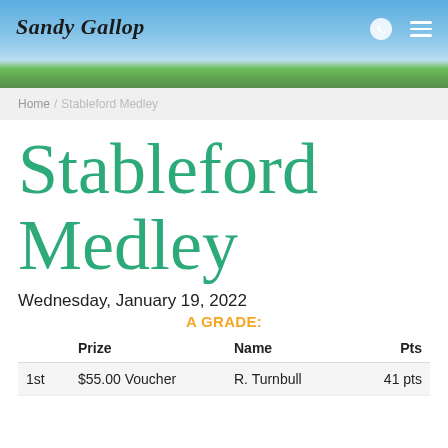[Figure (photo): Golf course header banner with blue sky and green trees, Sandy Gallop logo in script font top left, phone and menu icons top right]
Home / Stableford Medley
Stableford Medley
Wednesday, January 19, 2022
A GRADE:
|  | Prize | Name | Pts |
| --- | --- | --- | --- |
| 1st | $55.00 Voucher | R. Turnbull | 41 pts |